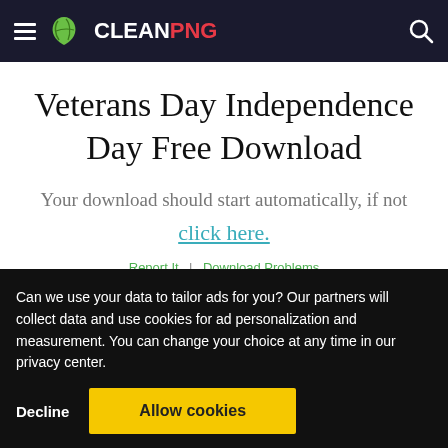CLEANPNG
Veterans Day Independence Day Free Download
Your download should start automatically, if not
click here.
Report It | Download Problems
Can we use your data to tailor ads for you? Our partners will collect data and use cookies for ad personalization and measurement. You can change your choice at any time in our privacy center.
Decline   Allow cookies